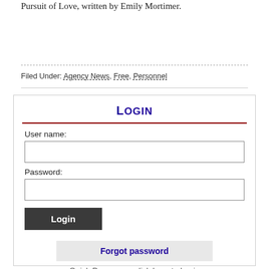Pursuit of Love, written by Emily Mortimer.
Filed Under: Agency News, Free, Personnel
Login
User name:
Password:
Login
Forgot password
Quick Pass users click here to log in